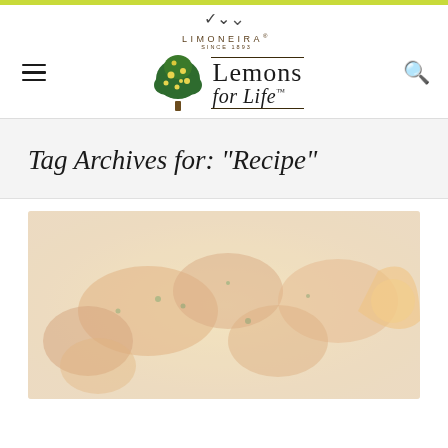Limoneira Lemons for Life
Tag Archives for: "Recipe"
[Figure (photo): Close-up photograph of cooked chicken pieces with herbs and citrus, shown in warm golden tones, partially faded/washed out.]